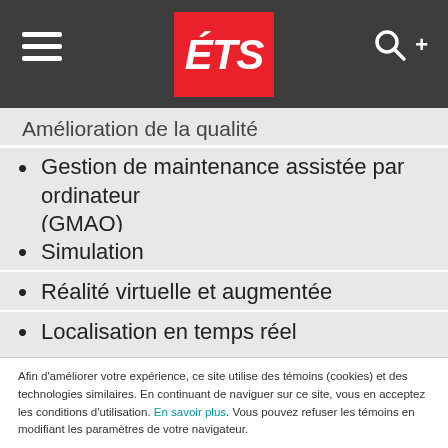ÉTS
Amélioration de la qualité
Gestion de maintenance assistée par ordinateur (GMAO)
Simulation
Réalité virtuelle et augmentée
Localisation en temps réel
Afin d'améliorer votre expérience, ce site utilise des témoins (cookies) et des technologies similaires. En continuant de naviguer sur ce site, vous en acceptez les conditions d'utilisation. En savoir plus. Vous pouvez refuser les témoins en modifiant les paramètres de votre navigateur.